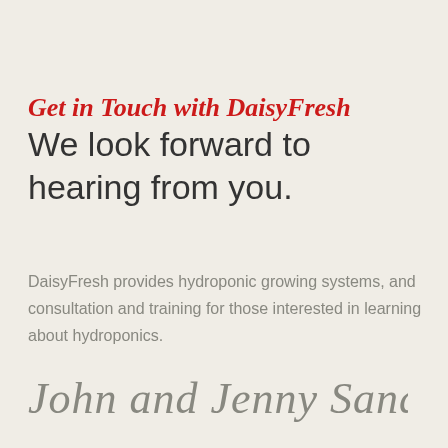Get in Touch with DaisyFresh
We look forward to hearing from you.
DaisyFresh provides hydroponic growing systems, and consultation and training for those interested in learning about hydroponics.
[Figure (illustration): Handwritten cursive signature reading 'John and Jenny Sandison']